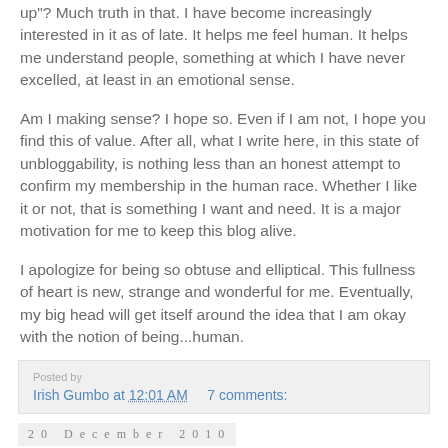up"?  Much truth in that.   I have become increasingly interested in it as of late.  It helps me feel human.  It helps me understand people, something at which I have never excelled, at least in an emotional sense.
Am I making sense?  I hope so.  Even if I am not, I hope you find this of value.  After all, what I write here, in this state of unbloggability, is nothing less than an honest attempt to confirm my membership in the human race.  Whether I like it or not, that is something I want and need.  It is a major motivation for me to keep this blog alive.
I apologize for being so obtuse and elliptical.  This fullness of heart is new, strange and wonderful for me.  Eventually, my big head will get itself around the idea that I am okay with the notion of being...human.
Irish Gumbo at 12:01 AM   7 comments:
20 December 2010